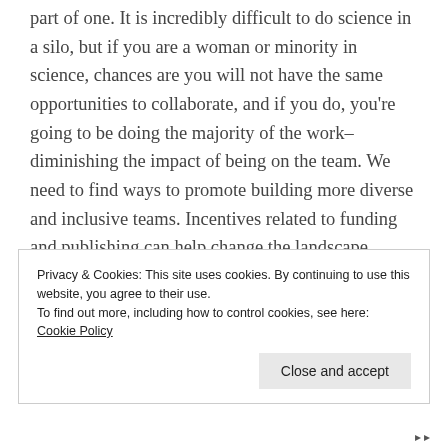part of one. It is incredibly difficult to do science in a silo, but if you are a woman or minority in science, chances are you will not have the same opportunities to collaborate, and if you do, you're going to be doing the majority of the work– diminishing the impact of being on the team. We need to find ways to promote building more diverse and inclusive teams. Incentives related to funding and publishing can help change the landscape.
Privacy & Cookies: This site uses cookies. By continuing to use this website, you agree to their use.
To find out more, including how to control cookies, see here: Cookie Policy
Close and accept